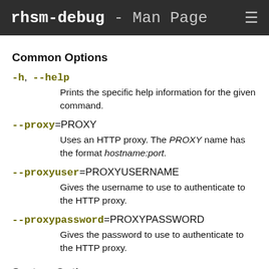rhsm-debug - Man Page
Common Options
-h, --help
Prints the specific help information for the given command.
--proxy=PROXY
Uses an HTTP proxy. The PROXY name has the format hostname:port.
--proxyuser=PROXYUSERNAME
Gives the username to use to authenticate to the HTTP proxy.
--proxypassword=PROXYPASSWORD
Gives the password to use to authenticate to the HTTP proxy.
System Options